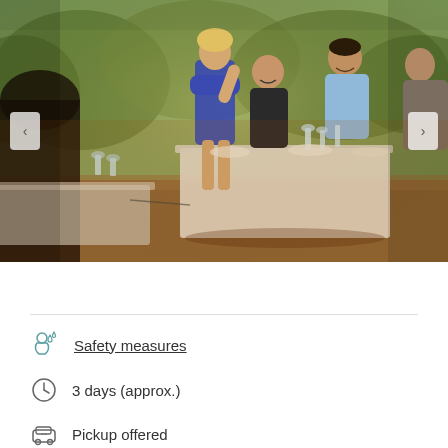[Figure (photo): People dining outdoors at a white-cloth table in a natural bush/outback setting, smiling and socializing with wine glasses, warm golden light]
Safety measures
3 days (approx.)
Pickup offered
Mobile ticket